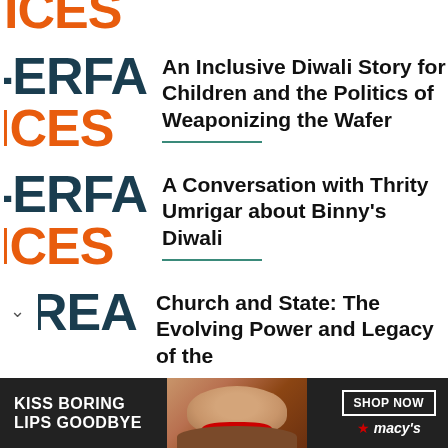An Inclusive Diwali Story for Children and the Politics of Weaponizing the Wafer
A Conversation with Thrity Umrigar about Binny's Diwali
Church and State: The Evolving Power and Legacy of the
[Figure (infographic): Advertisement banner: KISS BORING LIPS GOODBYE with a woman's face and red lips, SHOP NOW button, macy's star logo]